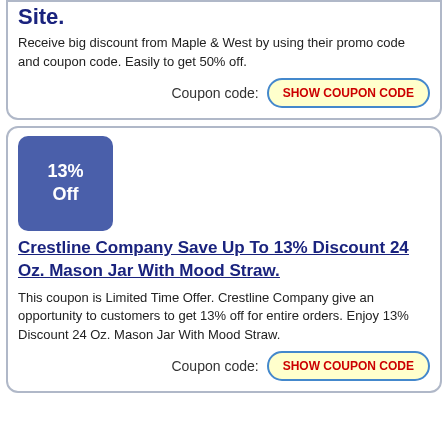Site.
Receive big discount from Maple & West by using their promo code and coupon code. Easily to get 50% off.
Coupon code: SHOW COUPON CODE
[Figure (infographic): Blue rounded square badge showing '13% Off']
Crestline Company Save Up To 13% Discount 24 Oz. Mason Jar With Mood Straw.
This coupon is Limited Time Offer. Crestline Company give an opportunity to customers to get 13% off for entire orders. Enjoy 13% Discount 24 Oz. Mason Jar With Mood Straw.
Coupon code: SHOW COUPON CODE